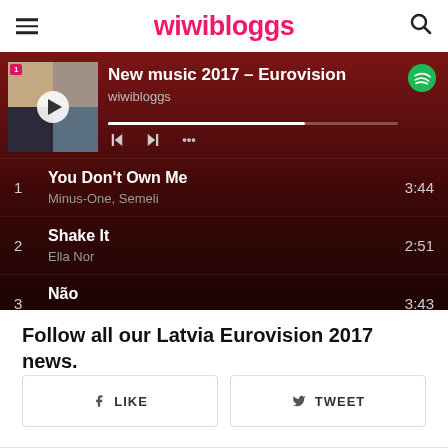wiwibloggs
[Figure (screenshot): Spotify playlist player showing 'New music 2017 - Eurovision' by wiwibloggs, with album art collage and playback controls]
1  You Don't Own Me  3:44  Minus-One, Semeli
2  Shake It  2:51  Ella Nor
3  Não  3:43  Ella Nor
Follow all our Latvia Eurovision 2017 news.
f LIKE   TWEET